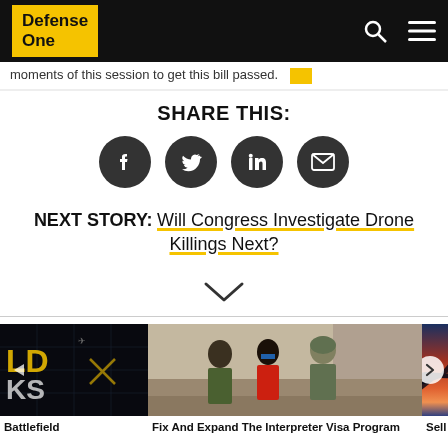Defense One
moments of this session to get this bill passed.
SHARE THIS:
[Figure (infographic): Four circular social media share buttons: Facebook, Twitter, LinkedIn, Email]
NEXT STORY: Will Congress Investigate Drone Killings Next?
[Figure (infographic): Chevron/down arrow navigation indicator]
[Figure (photo): Left card: dark background with text 'LD KS' and grid graphics - Battlefield]
[Figure (photo): Middle card: soldiers and local people conversing outside adobe building - Fix And Expand The Interpreter Visa Program]
[Figure (photo): Right card: aircraft silhouette against sunset sky - Sell F-16s To Arge...]
Battlefield
Fix And Expand The Interpreter Visa Program
Sell F-16s To Arge